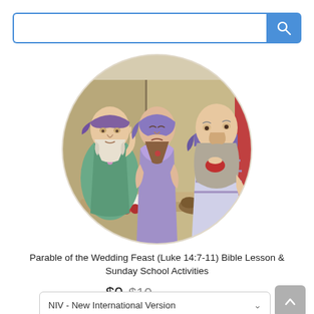[Figure (illustration): Search bar UI element with text input field and blue search button with magnifying glass icon]
[Figure (illustration): Circular cartoon illustration of three biblical figures at a feast/wedding banquet table, wearing traditional robes and head coverings, with food and cups on the table]
Parable of the Wedding Feast (Luke 14:7-11) Bible Lesson & Sunday School Activities
$0 $10
NIV - New International Version